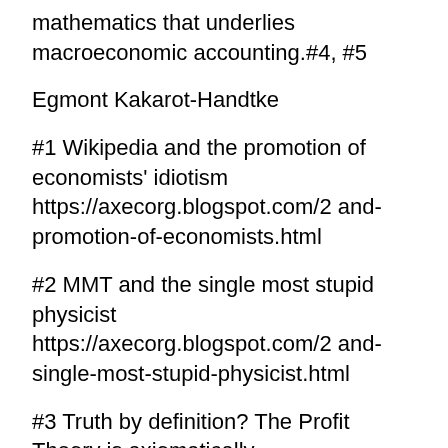mathematics that underlies macroeconomic accounting.#4, #5
Egmont Kakarot-Handtke
#1 Wikipedia and the promotion of economists' idiotism https://axecorg.blogspot.com/2 and-promotion-of-economists.html
#2 MMT and the single most stupid physicist https://axecorg.blogspot.com/2 and-single-most-stupid-physicist.html
#3 Truth by definition? The Profit Theory is axiomatically